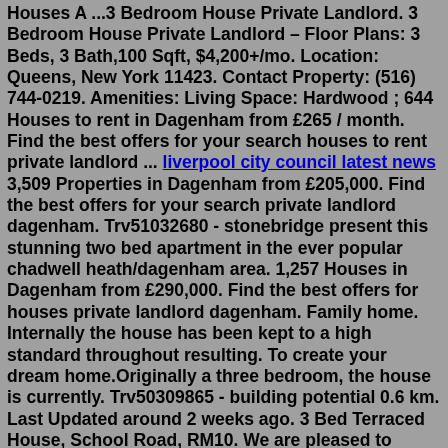Houses A ...3 Bedroom House Private Landlord. 3 Bedroom House Private Landlord – Floor Plans: 3 Beds, 3 Bath,100 Sqft, $4,200+/mo. Location: Queens, New York 11423. Contact Property: (516) 744-0219. Amenities: Living Space: Hardwood ; 644 Houses to rent in Dagenham from £265 / month. Find the best offers for your search houses to rent private landlord ... liverpool city council latest news 3,509 Properties in Dagenham from £205,000. Find the best offers for your search private landlord dagenham. Trv51032680 - stonebridge present this stunning two bed apartment in the ever popular chadwell heath/dagenham area. 1,257 Houses in Dagenham from £290,000. Find the best offers for houses private landlord dagenham. Family home. Internally the house has been kept to a high standard throughout resulting. To create your dream home.Originally a three bedroom, the house is currently. Trv50309865 - building potential 0.6 km. Last Updated around 2 weeks ago. 3 Bed Terraced House, School Road, RM10. We are pleased to present for sale this recently